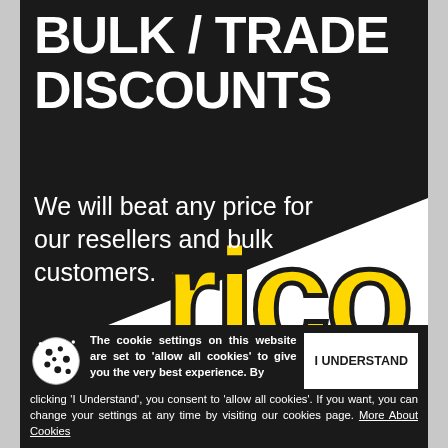BULK / TRADE DISCOUNTS
We will beat any price for our resellers and bulk customers.
[Figure (logo): Rico brand logo with yellow bold lettering on white background, partially visible]
The cookie settings on this website are set to 'allow all cookies' to give you the very best experience. By clicking 'I Understand', you consent to 'allow all cookies'. If you want, you can change your settings at any time by visiting our cookies page. More About Cookies